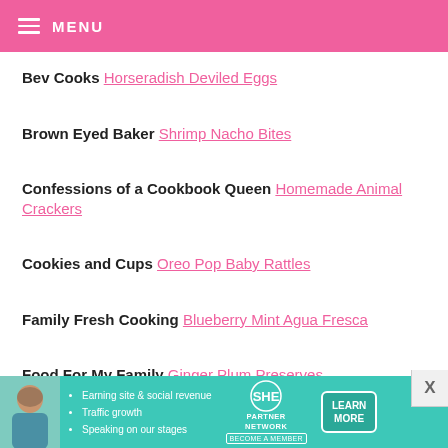MENU
Bev Cooks Horseradish Deviled Eggs
Brown Eyed Baker Shrimp Nacho Bites
Confessions of a Cookbook Queen Homemade Animal Crackers
Cookies and Cups Oreo Pop Baby Rattles
Family Fresh Cooking Blueberry Mint Agua Fresca
Food For My Family Ginger Plum Preserves
[Figure (infographic): SHE Partner Network advertisement banner with photo of woman, bullet points about earning site and social revenue, traffic growth, speaking on stages, SHE logo, and Learn More button]